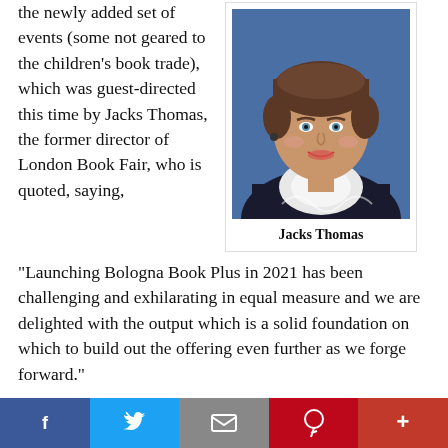the newly added set of events (some not geared to the children's book trade), which was guest-directed this time by Jacks Thomas, the former director of London Book Fair, who is quoted, saying,
[Figure (photo): Portrait photo of Jacks Thomas, a woman with short brown hair, wearing a black and white patterned top, smiling at the camera against a blue background.]
Jacks Thomas
“Launching Bologna Book Plus in 2021 has been challenging and exhilarating in equal measure and we are delighted with the output which is a solid foundation on which to build out the offering even further as we forge forward.”
To see any of the Bologna Book Plus content between now and August 31, you’ll be able to access from Bologna’s the
f    ✉  p  +